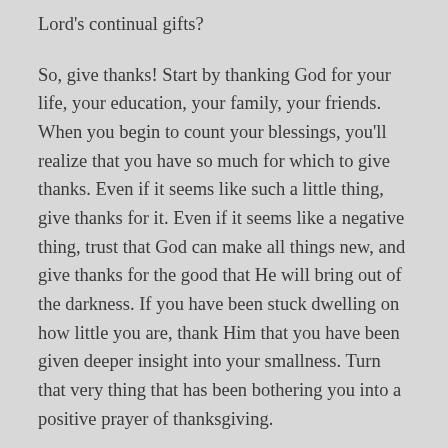Lord's continual gifts?
So, give thanks! Start by thanking God for your life, your education, your family, your friends. When you begin to count your blessings, you'll realize that you have so much for which to give thanks. Even if it seems like such a little thing, give thanks for it. Even if it seems like a negative thing, trust that God can make all things new, and give thanks for the good that He will bring out of the darkness. If you have been stuck dwelling on how little you are, thank Him that you have been given deeper insight into your smallness. Turn that very thing that has been bothering you into a positive prayer of thanksgiving.
Making gratitude a habit will keep those destructive